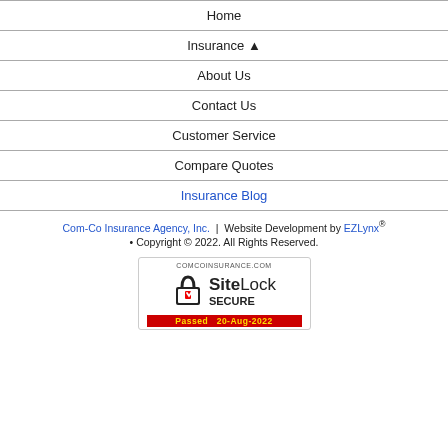Home
Insurance ▲
About Us
Contact Us
Customer Service
Compare Quotes
Insurance Blog
Com-Co Insurance Agency, Inc. | Website Development by EZLynx® • Copyright © 2022. All Rights Reserved.
[Figure (logo): SiteLock SECURE badge for comcoinsurance.com, Passed 20-Aug-2022]